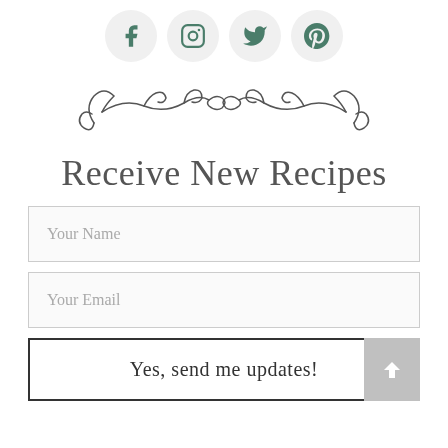[Figure (illustration): Social media icons for Facebook, Instagram, Twitter, and Pinterest in green color inside light gray circles]
[Figure (illustration): Decorative ornamental divider with swirling floral flourishes symmetrically arranged]
Receive New Recipes
Your Name
Your Email
Yes, send me updates!